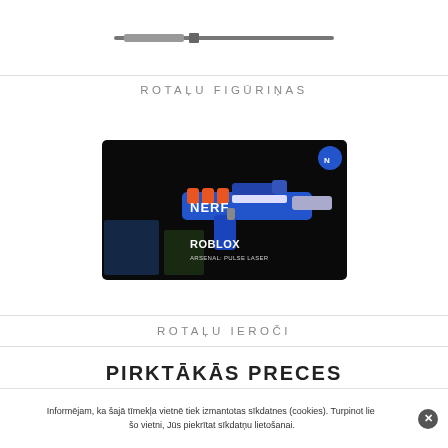[Figure (photo): Toy figure product image with a horizontal bar/weapon prop]
ROTAĻU FIGŪRIŅAS
[Figure (photo): Nerf Roblox toy blaster gun in blue and orange packaging]
ROTAĻU IEROČI
PIRKTĀKĀS PRECES
Informējam, ka šajā tīmekļa vietnē tiek izmantotas sīkdatnes (cookies). Turpinot lietot šo vietni, Jūs piekrītat sīkdatņu lietošanai.